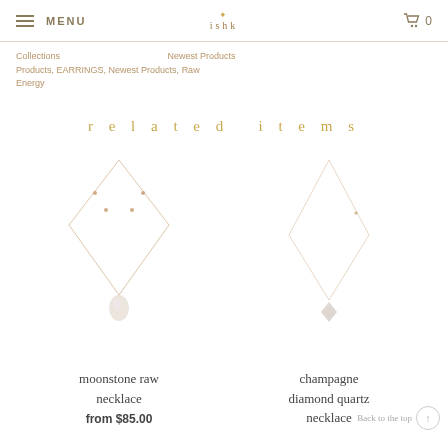MENU | ishk | 0
Products, EARRINGS, Newest Products, Raw Energy
related items
[Figure (photo): Moonstone raw necklace on rose gold chain with small bead accents and teardrop moonstone pendant]
moonstone raw necklace
from $85.00
[Figure (photo): Champagne diamond quartz necklace on delicate rose gold chain with small crystal pendant]
champagne diamond quartz necklace
necklace